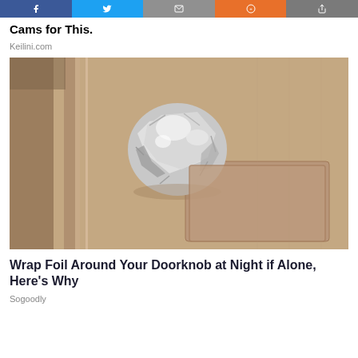[Figure (screenshot): Social media sharing buttons bar: Facebook (blue), Twitter (cyan), Email (gray), Google+ / share (orange), Share (dark gray)]
Cams for This.
Keilini.com
[Figure (photo): Close-up photograph of a door knob wrapped in aluminum foil on a tan/beige paneled door]
Wrap Foil Around Your Doorknob at Night if Alone, Here's Why
Sogoodly